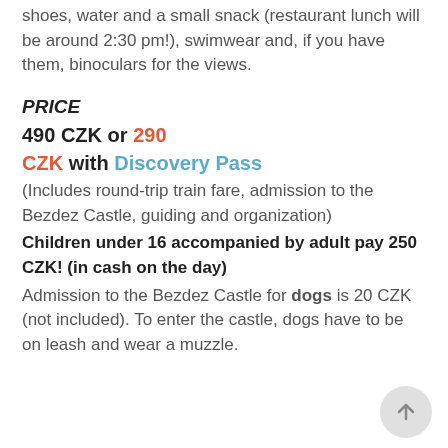shoes, water and a small snack (restaurant lunch will be around 2:30 pm!), swimwear and, if you have them, binoculars for the views.
PRICE
490 CZK or 290 CZK with Discovery Pass
(Includes round-trip train fare, admission to the Bezdez Castle, guiding and organization)
Children under 16 accompanied by adult pay 250 CZK! (in cash on the day)
Admission to the Bezdez Castle for dogs is 20 CZK (not included). To enter the castle, dogs have to be on leash and wear a muzzle.